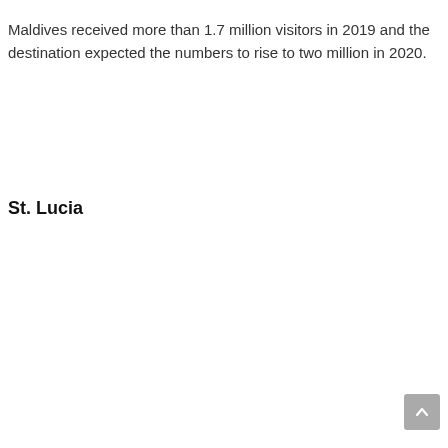Maldives received more than 1.7 million visitors in 2019 and the destination expected the numbers to rise to two million in 2020.
St. Lucia